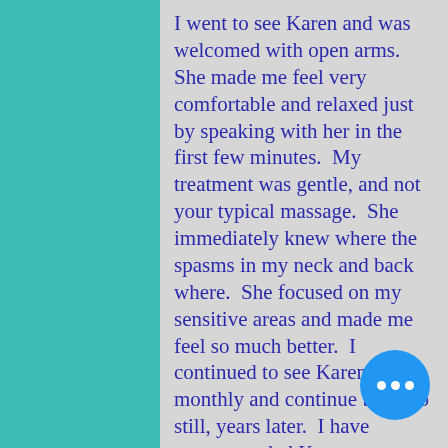I went to see Karen and was welcomed with open arms.  She made me feel very comfortable and relaxed just by speaking with her in the first few minutes.  My treatment was gentle, and not your typical massage.  She immediately knew where the spasms in my neck and back where.  She focused on my sensitive areas and made me feel so much better.  I continued to see Karen monthly and continue to do so still, years later.  I have recommended Karen to many of my peers, some who have gone to see her.
She is always available and very flexible. When I leave her office, I feel relaxed and a better person. I feel more aware of how to take care of my body and remember to carry over what she has taught me.  In return, I feel much better.  Thank you Karen for being my outlet in such a stressful world.  I don't know what I'd do without you!!